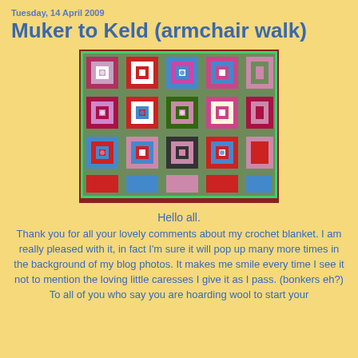Tuesday, 14 April 2009
Muker to Keld (armchair walk)
[Figure (photo): Close-up photograph of a colorful crocheted granny square blanket with squares in red, blue, pink, green, and white yarn on a sage green background.]
Hello all.
Thank you for all your lovely comments about my crochet blanket. I am really pleased with it, in fact I'm sure it will pop up many more times in the background of my blog photos. It makes me smile every time I see it not to mention the loving little caresses I give it as I pass. (bonkers eh?)
To all of you who say you are hoarding wool to start your